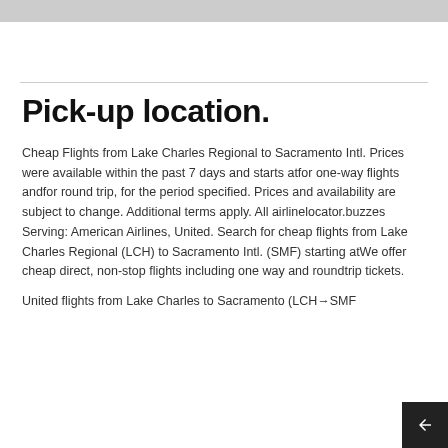Pick-up location.
Cheap Flights from Lake Charles Regional to Sacramento Intl. Prices were available within the past 7 days and starts atfor one-way flights andfor round trip, for the period specified. Prices and availability are subject to change. Additional terms apply. All airlinelocator.buzzes Serving: American Airlines, United. Search for cheap flights from Lake Charles Regional (LCH) to Sacramento Intl. (SMF) starting atWe offer cheap direct, non-stop flights including one way and roundtrip tickets.
United flights from Lake Charles to Sacramento (LCH→SMF